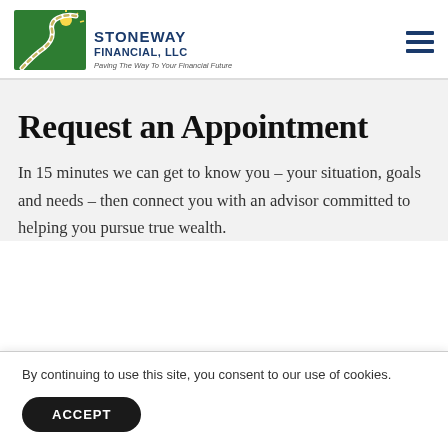Stoneway Financial, LLC — Paving The Way To Your Financial Future
Request an Appointment
In 15 minutes we can get to know you – your situation, goals and needs – then connect you with an advisor committed to helping you pursue true wealth.
By continuing to use this site, you consent to our use of cookies.
ACCEPT